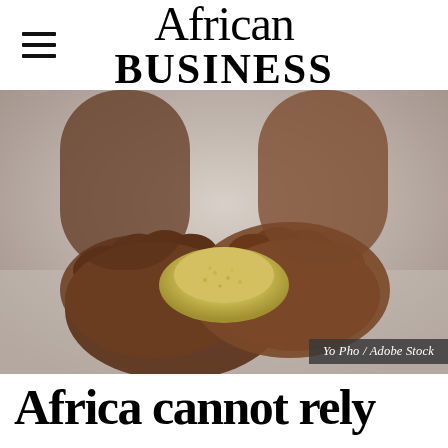African Business
[Figure (photo): Close-up photo of two dark-skinned hands cupped together holding a small mound of yellow grain or powder, on a light grey background.]
Yo Pho / Adobe Stock
Africa cannot rely